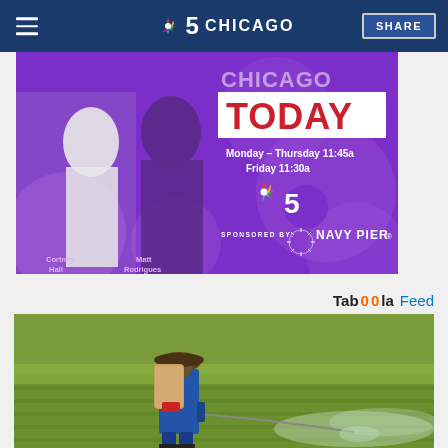NBC 5 CHICAGO | SHARE
[Figure (photo): NBC Chicago Today promotional advertisement showing two hosts (Cortney Hall and Matt Rodrigues) on a purple background with show schedule: Monday-Thursday 11:45a, Friday 11:30a. Sponsored by Navy Pier.]
Tab00la Feed
[Figure (photo): A worker wearing a blue jacket and wide-brimmed hat carrying a backpack sprayer, applying pesticide or herbicide to a green field.]